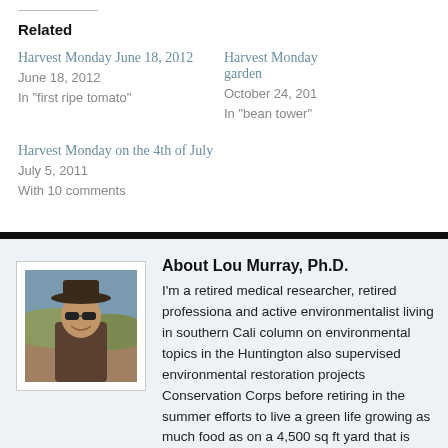Related
Harvest Monday June 18, 2012
June 18, 2012
In "first ripe tomato"
Harvest Monday...
garden
October 24, 201...
In "bean tower"
Harvest Monday on the 4th of July
July 5, 2011
With 10 comments
About Lou Murray, Ph.D.
[Figure (photo): Portrait photo of Lou Murray, Ph.D., a person wearing a cowboy hat and sunglasses outdoors]
I'm a retired medical researcher, retired professional and active environmentalist living in southern California. I write a column on environmental topics in the Huntington... also supervised environmental restoration projects... Conservation Corps before retiring in the summer... efforts to live a green life growing as much food as... on a 4,500 sq ft yard that is covered mainly by hou... I am also dedicated to combatting global climate cl...